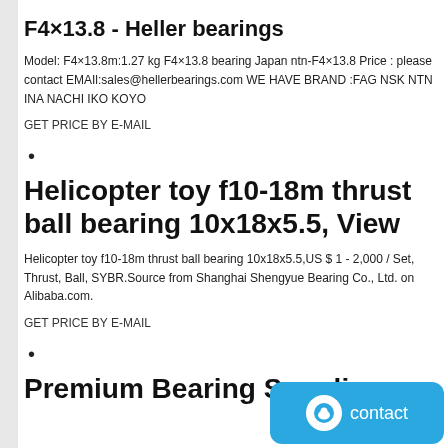F4×13.8 - Heller bearings
Model: F4×13.8m:1.27 kg F4×13.8 bearing Japan ntn-F4×13.8 Price : please contact EMAIl:sales@hellerbearings.com WE HAVE BRAND :FAG NSK NTN INA NACHI IKO KOYO
GET PRICE BY E-MAIL
•
Helicopter toy f10-18m thrust ball bearing 10x18x5.5, View
Helicopter toy f10-18m thrust ball bearing 10x18x5.5,US $ 1 - 2,000 / Set, Thrust, Ball, SYBR.Source from Shanghai Shengyue Bearing Co., Ltd. on Alibaba.com.
GET PRICE BY E-MAIL
•
Premium Bearing Supplie